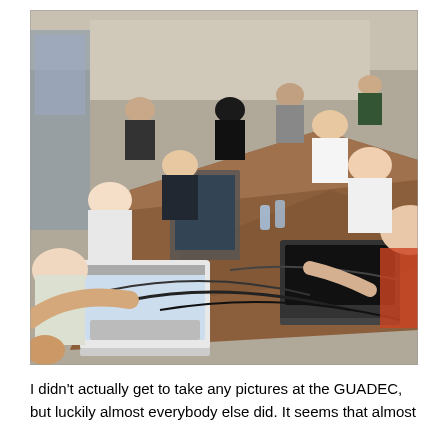[Figure (photo): A long table in what appears to be a conference hall or open space. Many people (mostly young men) are seated on both sides of the table working on laptops. Cables and water bottles are scattered on the table. The scene appears to be a hackathon or developer event (GUADEC).]
I didn't actually get to take any pictures at the GUADEC, but luckily almost everybody else did. It seems that almost